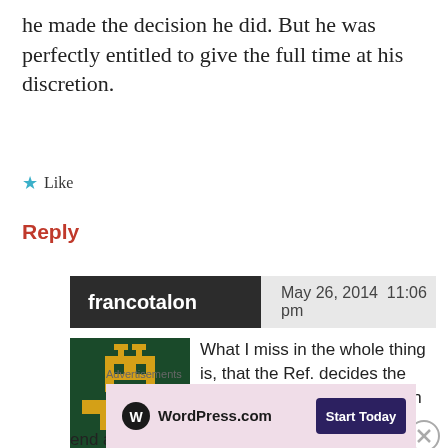he made the decision he did. But he was perfectly entitled to give the full time at his discretion.
★ Like
Reply
francotalon   May 26, 2014  11:06 pm
[Figure (illustration): Pixel art avatar showing a yellow robot/character on dark green background]
What I miss in the whole thing is, that the Ref. decides the amount of extra time. The 4th Ref....! And said in general, Refs seem to end a game only after a last attack, corner, etc.
Advertisements
[Figure (screenshot): WordPress.com advertisement banner with Start Today button]